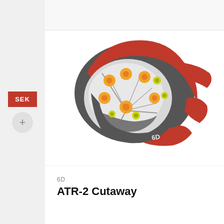SEK
[Figure (illustration): 3D cutaway rendering of a red and grey motorcycle/motocross helmet (6D ATR-2) showing internal structure with orange and yellow-green fasteners/dampers visible through the cut-away shell, viewed from a top-front angle.]
6D
ATR-2 Cutaway